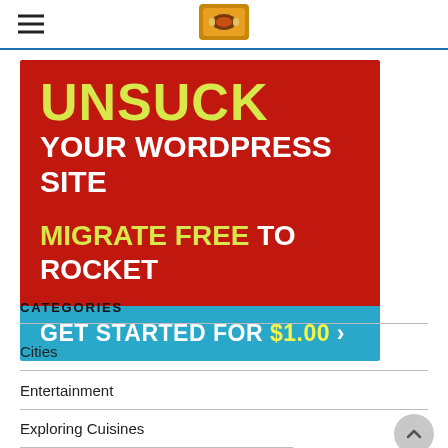Navigation bar with hamburger menu and site logo
[Figure (infographic): Advertisement banner: red background with 'UNSUCK YOUR WORDPRESS SITE' text in yellow and white bold lettering, followed by 'MIGRATE FREE TO ROCKET' in yellow and white, and a blue bar with 'GET STARTED FOR $1.00 >']
CATEGORIES
Cities
Entertainment
Exploring Cuisines
Exploring Nature